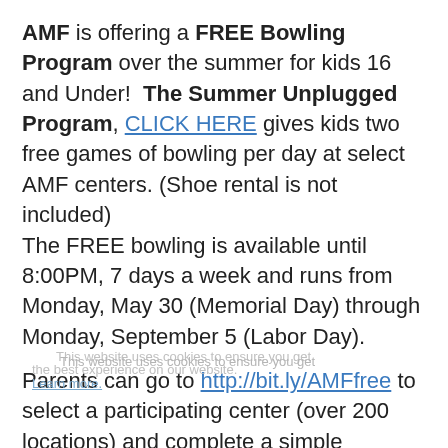AMF is offering a FREE Bowling Program over the summer for kids 16 and Under! The Summer Unplugged Program, CLICK HERE gives kids two free games of bowling per day at select AMF centers. (Shoe rental is not included)
The FREE bowling is available until 8:00PM, 7 days a week and runs from Monday, May 30 (Memorial Day) through Monday, September 5 (Labor Day).
Parents can go to http://bit.ly/AMFfree to select a participating center (over 200 locations) and complete a simple registration form. Free game coupons are emailed every Sunday starting May 29 for the following week – it's that simple! And if you are looking to feed the kiddos, Kids combo meals are